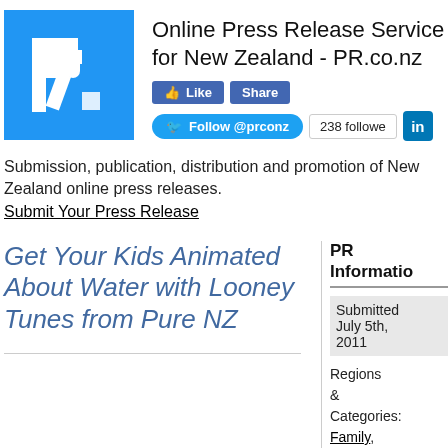[Figure (logo): PR.co.nz logo: white P and R letters on blue square background]
Online Press Release Service for New Zealand - PR.co.nz
Like  Share  Follow @prconz  238 followers  LinkedIn
Submission, publication, distribution and promotion of New Zealand online press releases.
Submit Your Press Release
Get Your Kids Animated About Water with Looney Tunes from Pure NZ
PR Information
Submitted July 5th, 2011
Regions & Categories: Family, Food, New